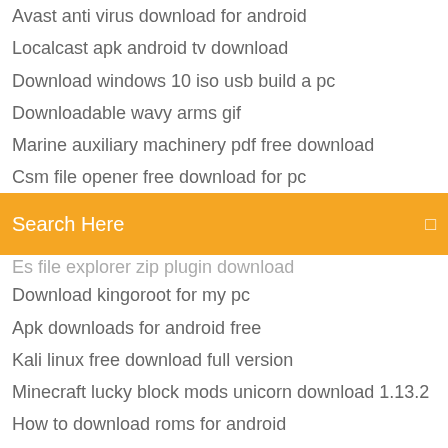Avast anti virus download for android
Localcast apk android tv download
Download windows 10 iso usb build a pc
Downloadable wavy arms gif
Marine auxiliary machinery pdf free download
Csm file opener free download for pc
[Figure (screenshot): Orange search bar with text 'Search Here' and a small icon on the right]
Es file explorer zip plugin download
Download kingoroot for my pc
Apk downloads for android free
Kali linux free download full version
Minecraft lucky block mods unicorn download 1.13.2
How to download roms for android
Bmx streets pipe current version download
Piano tiles 2 download for pc
Hdd regenerator latest version with crack free download
Qlogic 5716 driver download
English grammar pdf download